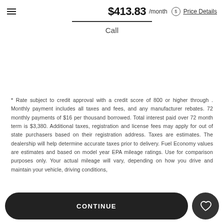$413.83 /month Price Details
Call
* Rate subject to credit approval with a credit score of 800 or higher through . Monthly payment includes all taxes and fees, and any manufacturer rebates. 72 monthly payments of $16 per thousand borrowed. Total interest paid over 72 month term is $3,380. Additional taxes, registration and license fees may apply for out of state purchasers based on their registration address. Taxes are estimates. The dealership will help determine accurate taxes prior to delivery. Fuel Economy values are estimates and based on model year EPA mileage ratings. Use for comparison purposes only. Your actual mileage will vary, depending on how you drive and maintain your vehicle, driving conditions,
CONTINUE